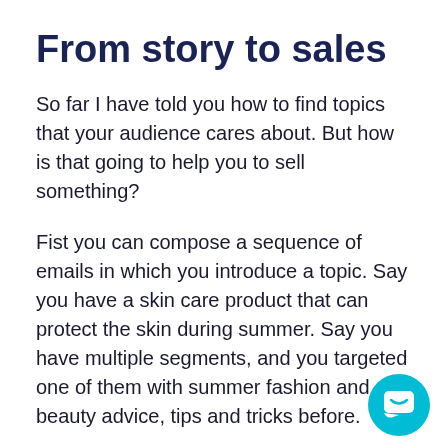From story to sales
So far I have told you how to find topics that your audience cares about. But how is that going to help you to sell something?
Fist you can compose a sequence of emails in which you introduce a topic. Say you have a skin care product that can protect the skin during summer. Say you have multiple segments, and you targeted one of them with summer fashion and beauty advice, tips and tricks before.
Now that they know you and got used